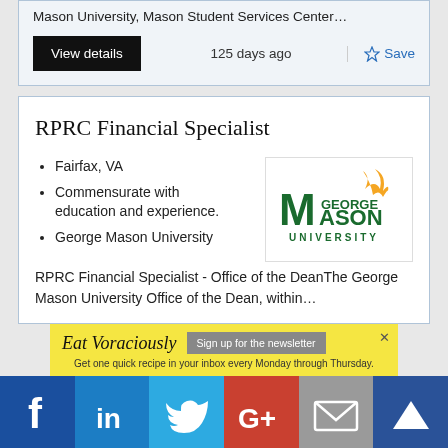Mason University, Mason Student Services Center…
View details   125 days ago   Save
RPRC Financial Specialist
Fairfax, VA
Commensurate with education and experience.
George Mason University
[Figure (logo): George Mason University logo with green text and orange flame]
RPRC Financial Specialist - Office of the DeanThe George Mason University Office of the Dean, within…
[Figure (infographic): Eat Voraciously advertisement banner - Sign up for the newsletter. Get one quick recipe in your inbox every Monday through Thursday.]
[Figure (infographic): Social media sharing bar with Facebook, LinkedIn, Twitter, Google+, Email, and Mightymail buttons]